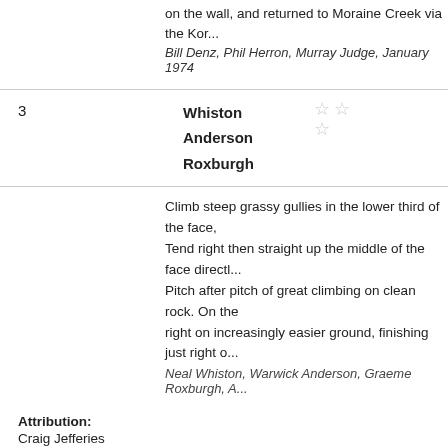on the wall, and returned to Moraine Creek via the Kor...
Bill Denz, Phil Herron, Murray Judge, January 1974
| # | Name | Rating |
| --- | --- | --- |
| 3 | Whiston
Anderson
Roxburgh | ☆☆ ☆ |
Climb steep grassy gullies in the lower third of the face, Tend right then straight up the middle of the face directl Pitch after pitch of great climbing on clean rock. On the right on increasingly easier ground, finishing just right o
Neal Whiston, Warwick Anderson, Graeme Roxburgh, A...
Attribution: Craig Jefferies
This place appears in
[Figure (photo): Book cover of 'The Darran Mountains']